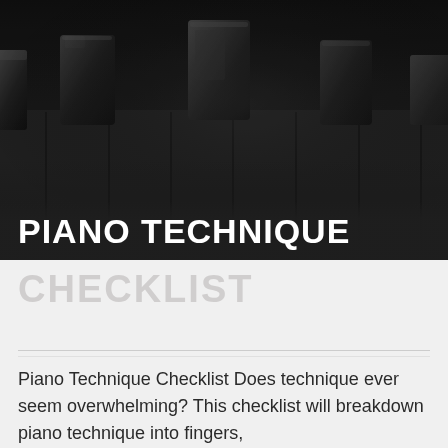[Figure (photo): Close-up photograph of piano keys in dark/dramatic lighting, showing black and white keys from a low angle perspective. Predominantly dark tones with subtle highlights on the black keys.]
PIANO TECHNIQUE
CHECKLIST
Piano Technique Checklist Does technique ever seem overwhelming? This checklist will breakdown piano technique into fingers,